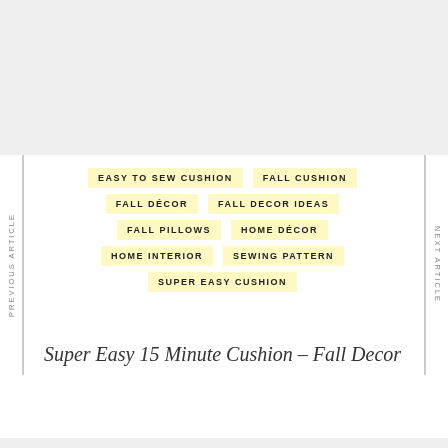EASY TO SEW CUSHION
FALL CUSHION
FALL DÉCOR
FALL DECOR IDEAS
FALL PILLOWS
HOME DÉCOR
HOME INTERIOR
SEWING PATTERN
SUPER EASY CUSHION
Super Easy 15 Minute Cushion – Fall Decor